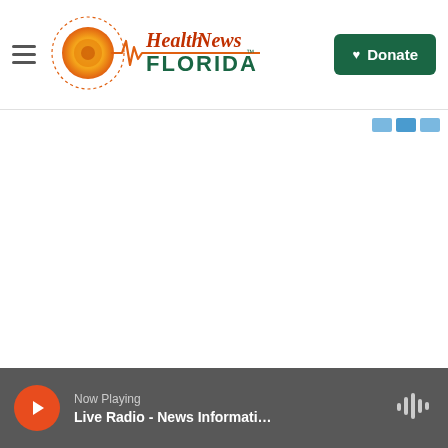Health News Florida - Navigation header with logo and Donate button
[Figure (logo): Health News Florida logo with sun and heartbeat graphic]
Donate
Now Playing
Live Radio - News Informati...